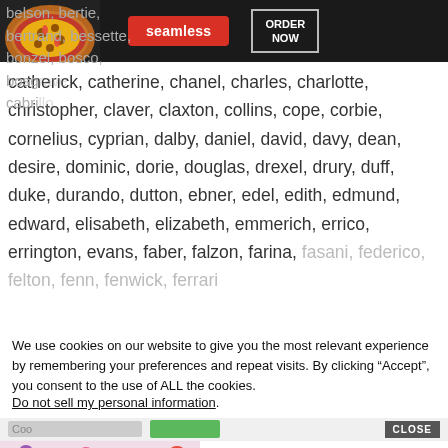[Figure (screenshot): Seamless food delivery ad banner with pizza image, red Seamless logo button, and ORDER NOW button on dark background]
belson, bertie, bertrand, bessette, bonzel, bosco, bosg... cabri...
catherick, catherine, chanel, charles, charlotte, christopher, claver, claxton, collins, cope, corbie, cornelius, cyprian, dalby, daniel, david, davy, dean, desire, dominic, dorie, douglas, drexel, drury, duff, duke, durando, dutton, ebner, edel, edith, edmund, edward, elisabeth, elizabeth, emmerich, errico, errington, evans, faber, falzon, farina, fasani, federico, felton, fenn, fenwick, ferrari
We use cookies on our website to give you the most relevant experience by remembering your preferences and repeat visits. By clicking “Accept”, you consent to the use of ALL the cookies.
Do not sell my personal information.
[Figure (screenshot): Cookie settings row with input field, green Accept button, and CLOSE button]
[Figure (screenshot): MAC cosmetics ad banner with lipstick image, MAC logo, and SHOP NOW button]